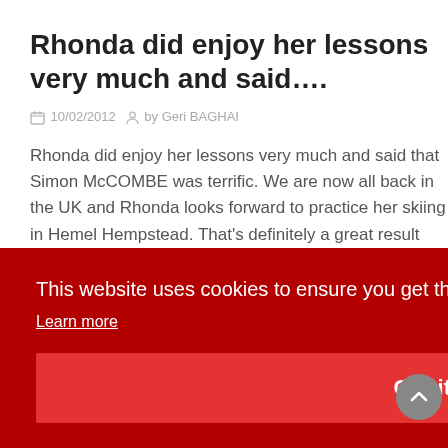Rhonda did enjoy her lessons very much and said….
10/02/2012   by Geri BAGHAI
Rhonda did enjoy her lessons very much and said that Simon McCOMBE was terrific. We are now all back in the UK and Rhonda looks forward to practice her skiing in Hemel Hempstead. That's definitely a great result Many thanks to Simon and the team.
This website uses cookies to ensure you get the best experience on our website.
Learn more
Got it!